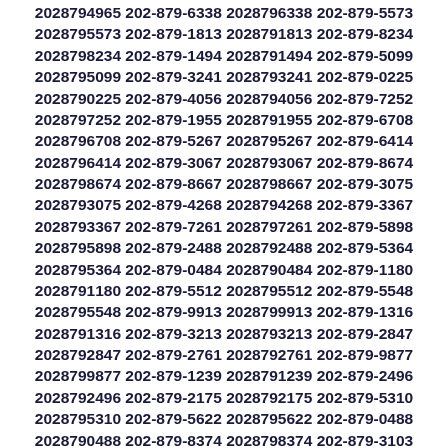2028794965 202-879-6338 2028796338 202-879-5573 2028795573 202-879-1813 2028791813 202-879-8234 2028798234 202-879-1494 2028791494 202-879-5099 2028795099 202-879-3241 2028793241 202-879-0225 2028790225 202-879-4056 2028794056 202-879-7252 2028797252 202-879-1955 2028791955 202-879-6708 2028796708 202-879-5267 2028795267 202-879-6414 2028796414 202-879-3067 2028793067 202-879-8674 2028798674 202-879-8667 2028798667 202-879-3075 2028793075 202-879-4268 2028794268 202-879-3367 2028793367 202-879-7261 2028797261 202-879-5898 2028795898 202-879-2488 2028792488 202-879-5364 2028795364 202-879-0484 2028790484 202-879-1180 2028791180 202-879-5512 2028795512 202-879-5548 2028795548 202-879-9913 2028799913 202-879-1316 2028791316 202-879-3213 2028793213 202-879-2847 2028792847 202-879-2761 2028792761 202-879-9877 2028799877 202-879-1239 2028791239 202-879-2496 2028792496 202-879-2175 2028792175 202-879-5310 2028795310 202-879-5622 2028795622 202-879-0488 2028790488 202-879-8374 2028798374 202-879-3103 2028793103 202-879-7977 2028797977 202-879-3560 2028793560 202-879-8133 2028798133 202-879-7689 2028797689 202-879-3396 2028793396 202-879-7277 2028797277 202-879-0399 2028790399 202-879-5785 2028795785 202-879-2131 2028792131 202-879-3333